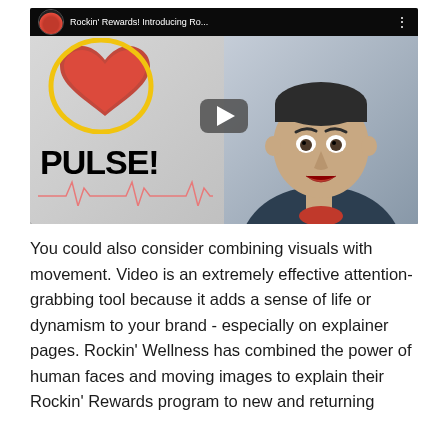[Figure (screenshot): YouTube video thumbnail showing 'Rockin' Rewards! Introducing Ro...' with a PULSE! graphic featuring a heart and ECG line on the left side, and a man with an expressive face on the right side. A large play button is overlaid in the center.]
You could also consider combining visuals with movement. Video is an extremely effective attention-grabbing tool because it adds a sense of life or dynamism to your brand - especially on explainer pages. Rockin' Wellness has combined the power of human faces and moving images to explain their Rockin' Rewards program to new and returning